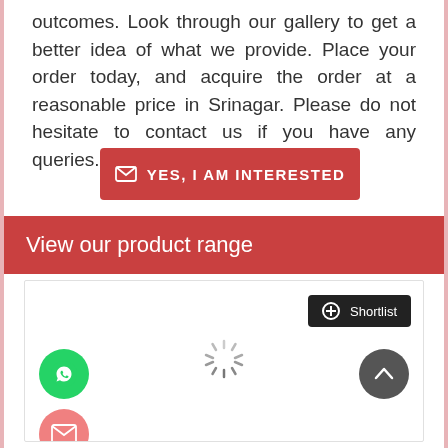outcomes. Look through our gallery to get a better idea of what we provide. Place your order today, and acquire the order at a reasonable price in Srinagar. Please do not hesitate to contact us if you have any queries.
[Figure (other): Red button with envelope icon and text YES, I AM INTERESTED]
View our product range
[Figure (other): Product panel with shortlist button, WhatsApp icon, mail icon, loading spinner, and up-arrow button]